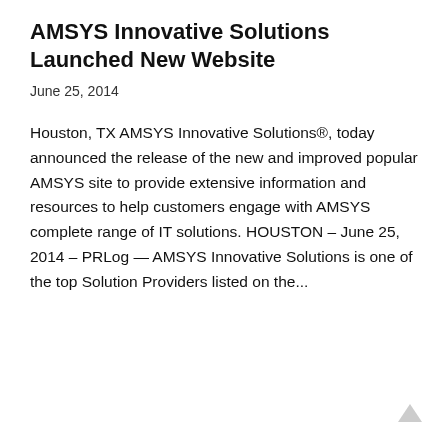AMSYS Innovative Solutions Launched New Website
June 25, 2014
Houston, TX AMSYS Innovative Solutions®, today announced the release of the new and improved popular AMSYS site to provide extensive information and resources to help customers engage with AMSYS complete range of IT solutions. HOUSTON – June 25, 2014 – PRLog — AMSYS Innovative Solutions is one of the top Solution Providers listed on the...